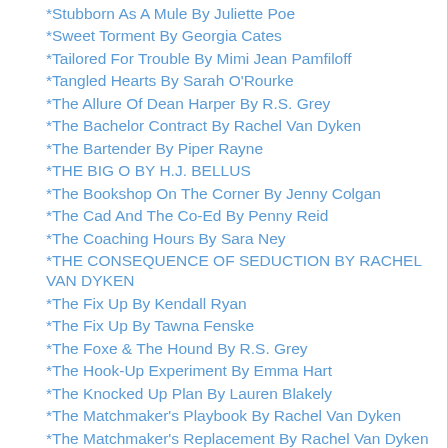*Stubborn As A Mule By Juliette Poe
*Sweet Torment By Georgia Cates
*Tailored For Trouble By Mimi Jean Pamfiloff
*Tangled Hearts By Sarah O'Rourke
*The Allure Of Dean Harper By R.S. Grey
*The Bachelor Contract By Rachel Van Dyken
*The Bartender By Piper Rayne
*THE BIG O BY H.J. BELLUS
*The Bookshop On The Corner By Jenny Colgan
*The Cad And The Co-Ed By Penny Reid
*The Coaching Hours By Sara Ney
*THE CONSEQUENCE OF SEDUCTION BY RACHEL VAN DYKEN
*The Fix Up By Kendall Ryan
*The Fix Up By Tawna Fenske
*The Foxe & The Hound By R.S. Grey
*The Hook-Up Experiment By Emma Hart
*The Knocked Up Plan By Lauren Blakely
*The Matchmaker's Playbook By Rachel Van Dyken
*The Matchmaker's Replacement By Rachel Van Dyken
*The Mistakes By Elizabeth Brown
*The Mother Road By Meghan Quinn